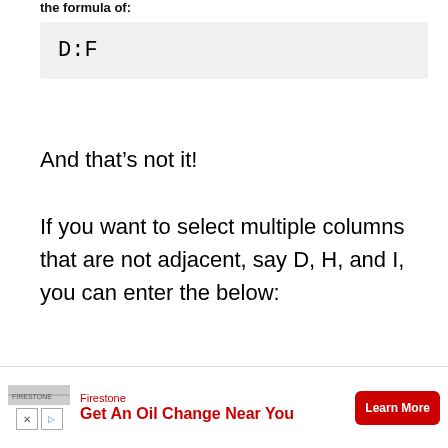the formula of:
D:F
And that’s not it!
If you want to select multiple columns that are not adjacent, say D, H, and I, you can enter the below:
[Figure (other): Advertisement banner: Firestone - Get An Oil Change Near You, with Learn More button]